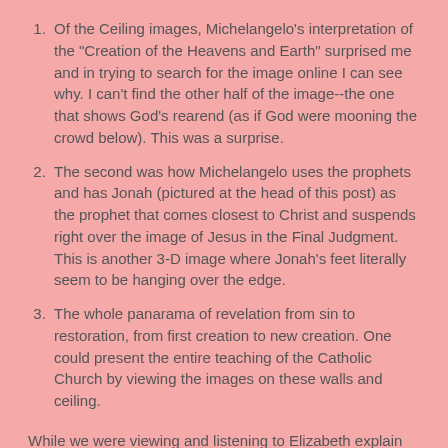Of the Ceiling images, Michelangelo's interpretation of the "Creation of the Heavens and Earth" surprised me and in trying to search for the image online I can see why. I can't find the other half of the image--the one that shows God's rearend (as if God were mooning the crowd below). This was a surprise.
The second was how Michelangelo uses the prophets and has Jonah (pictured at the head of this post) as the prophet that comes closest to Christ and suspends right over the image of Jesus in the Final Judgment. This is another 3-D image where Jonah's feet literally seem to be hanging over the edge.
The whole panarama of revelation from sin to restoration, from first creation to new creation. One could present the entire teaching of the Catholic Church by viewing the images on these walls and ceiling.
While we were viewing and listening to Elizabeth explain various elements of the art we were experiencing several